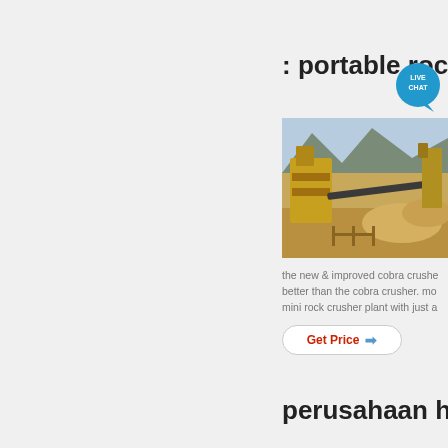: portable rock ru
[Figure (photo): Aerial view of a rock crusher / quarry plant with conveyor belts, heavy machinery, crushed stone piles, and mountains in the background.]
the new & improved cobra crushe better than the cobra crusher. mo mini rock crusher plant with just a
Get Price →
perusahaan hard